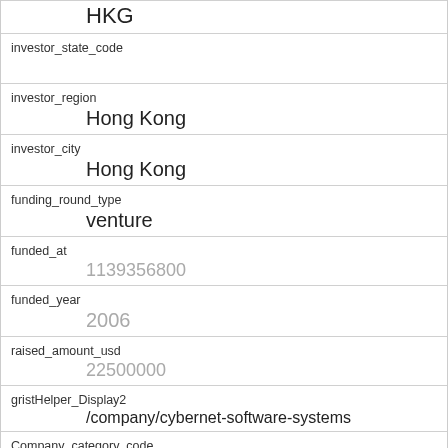HKG
investor_state_code
investor_region
Hong Kong
investor_city
Hong Kong
funding_round_type
venture
funded_at
1139356800
funded_year
2006
raised_amount_usd
22500000
gristHelper_Display2
/company/cybernet-software-systems
Company_category_code
software
Investor
SAIF Part...